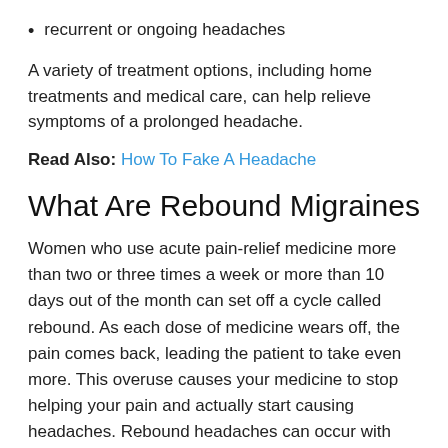recurrent or ongoing headaches
A variety of treatment options, including home treatments and medical care, can help relieve symptoms of a prolonged headache.
Read Also: How To Fake A Headache
What Are Rebound Migraines
Women who use acute pain-relief medicine more than two or three times a week or more than 10 days out of the month can set off a cycle called rebound. As each dose of medicine wears off, the pain comes back, leading the patient to take even more. This overuse causes your medicine to stop helping your pain and actually start causing headaches. Rebound headaches can occur with both over the counter